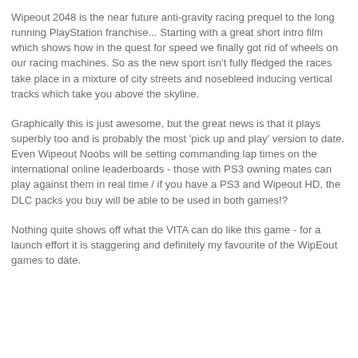Wipeout 2048 is the near future anti-gravity racing prequel to the long running PlayStation franchise... Starting with a great short intro film which shows how in the quest for speed we finally got rid of wheels on our racing machines. So as the new sport isn't fully fledged the races take place in a mixture of city streets and nosebleed inducing vertical tracks which take you above the skyline.
Graphically this is just awesome, but the great news is that it plays superbly too and is probably the most 'pick up and play' version to date. Even Wipeout Noobs will be setting commanding lap times on the international online leaderboards - those with PS3 owning mates can play against them in real time / if you have a PS3 and Wipeout HD, the DLC packs you buy will be able to be used in both games!?
Nothing quite shows off what the VITA can do like this game - for a launch effort it is staggering and definitely my favourite of the WipEout games to date.